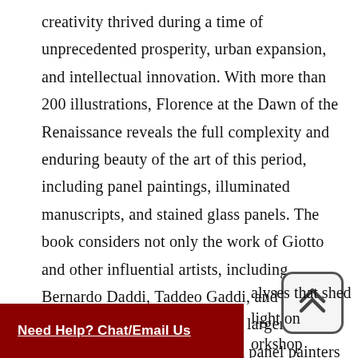creativity thrived during a time of unprecedented prosperity, urban expansion, and intellectual innovation. With more than 200 illustrations, Florence at the Dawn of the Renaissance reveals the full complexity and enduring beauty of the art of this period, including panel paintings, illuminated manuscripts, and stained glass panels. The book considers not only the work of Giotto and other influential artists, including Bernardo Daddi, Taddeo Gaddi, and Pacino di Bonaguida, but also that of the larger community of illuminators and panel painters who collectively contributed to Florence's artistic legacy. It places particular emphasis on those artists who worked in both panel painting and manuscript illumination, and presents new conservation analyses that shed light on workshop practices of the
[Figure (other): A rounded rectangle button with a double upward chevron (scroll-to-top icon), gray border on light gray background]
Need Help? Chat/Email Us